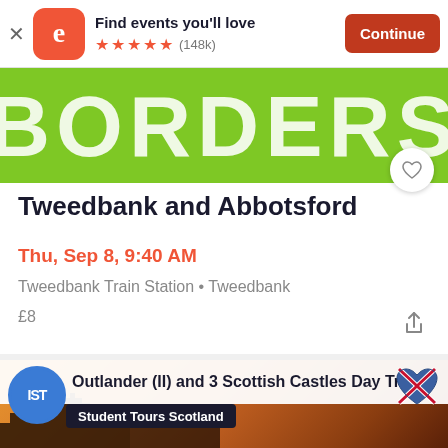[Figure (screenshot): Eventbrite app advertisement banner with logo, 'Find events you'll love' text, 5 star rating (148k reviews), and orange Continue button]
[Figure (screenshot): Green banner with large white text reading BORDERS]
Tweedbank and Abbotsford
Thu, Sep 8, 9:40 AM
Tweedbank Train Station • Tweedbank
£8
[Figure (screenshot): Event card for Outlander (II) and 3 Scottish Castles Day Trip by Student Tours Scotland, showing castle ruins at sunset with IST logo and Scottish flag heart]